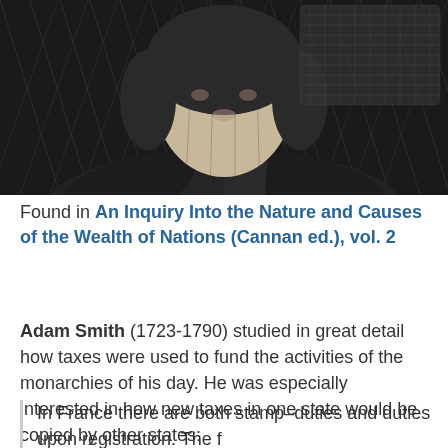[Figure (illustration): Black and white engraving/illustration of Adam Smith, showing his head and upper body in cross-hatched style against a dark background. Only the top portion of the bust is visible, cropped at the bottom.]
Found in An Inquiry Into the Nature and Causes of the Wealth of Nations (Cannan ed.), vol. 2
Adam Smith (1723-1790) studied in great detail how taxes were used to fund the activities of the monarchies of his day. He was especially interested in how new taxes in one state would be copied by other states:
In France there are both stamp-duties and duties upon registration. The f...